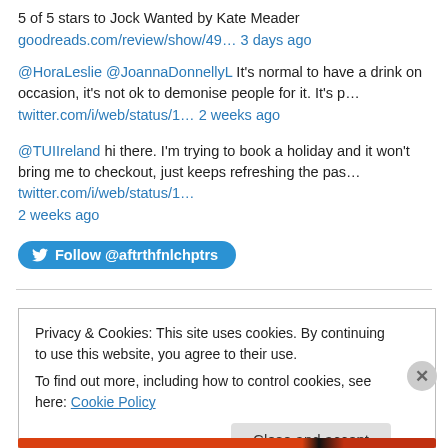5 of 5 stars to Jock Wanted by Kate Meader
goodreads.com/review/show/49… 3 days ago
@HoraLeslie @JoannaDonnellyL It's normal to have a drink on occasion, it's not ok to demonise people for it. It's p…
twitter.com/i/web/status/1… 2 weeks ago
@TUIIreland hi there. I'm trying to book a holiday and it won't bring me to checkout, just keeps refreshing the pas… twitter.com/i/web/status/1… 2 weeks ago
Follow @aftrthfnlchptrs
Privacy & Cookies: This site uses cookies. By continuing to use this website, you agree to their use.
To find out more, including how to control cookies, see here: Cookie Policy
Close and accept